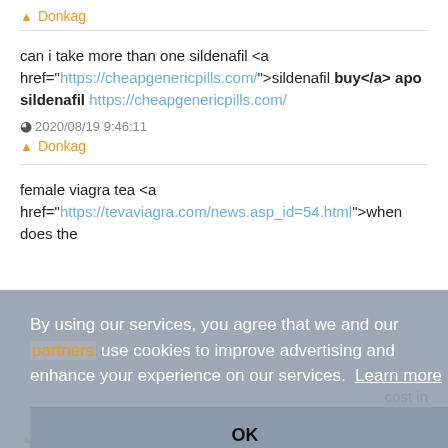Donkag
can i take more than one sildenafil <a href="https://cheapgenericpills.com/">sildenafil buy</a> apo sildenafil https://cheapgenericpills.com/
2020/08/19 9:46:11
Donkag
female viagra tea <a href="https://tevaviagra.com/news.asp_id=54.html">when does the
cost in
By using our services, you agree that we and our partners use cookies to improve advertising and enhance your experience on our services. Learn more
OK
Alicekag